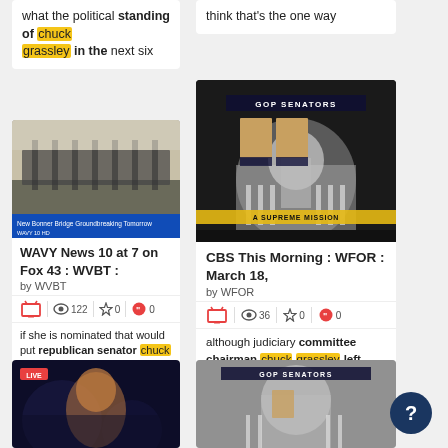what the political standing of chuck grassley in the next six
think that's the one way
[Figure (screenshot): WAVY News 10 bridge groundbreaking video screenshot with blue ticker overlay]
WAVY News 10 at 7 on Fox 43 : WVBT :
by WVBT
122 views, 0 stars, 0 quotes
if she is nominated that would put republican senator chuck grassley in a bind. he's in charge
[Figure (screenshot): CBS This Morning GOP Senators Capitol building screenshot with news banner]
CBS This Morning : WFOR : March 18,
by WFOR
36 views, 0 stars, 0 quotes
although judiciary committee chairman chuck grassley left open a crack. >> it's a
[Figure (screenshot): Live broadcast screenshot of female anchor with dark background]
[Figure (screenshot): GOP Senators Capitol building screenshot, partial view]